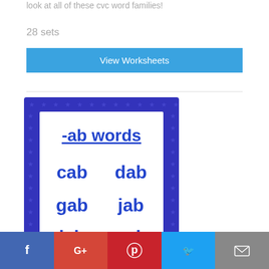look at all of these cvc word families!
28 sets
View Worksheets
[Figure (illustration): An -ab words word family card with blue star-pattern border. White background with blue text listing: '-ab words' as heading (underlined), then two columns of words: cab, dab, gab, jab, lab, nab]
Facebook  G+  Pinterest  Twitter  Email